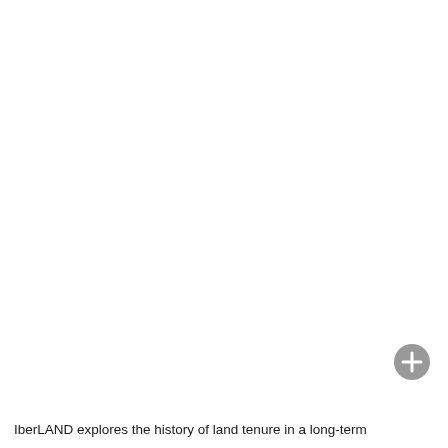[Figure (other): A circular grey button with a white plus (+) symbol in the center, positioned in the lower-right area of the page.]
IberLAND explores the history of land tenure in a long-term